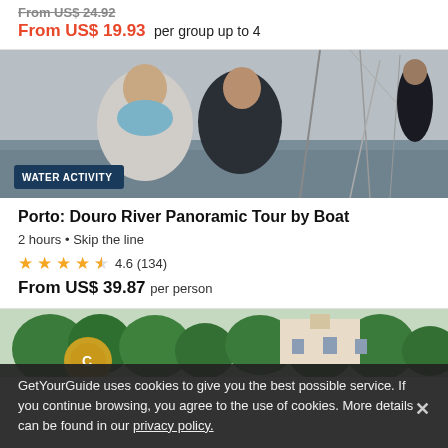From US$ 24.92 (strikethrough)
From US$ 19.93 per group up to 4
[Figure (photo): Two people sitting on a sailboat on the water, sails visible in background. Badge reads WATER ACTIVITY.]
Porto: Douro River Panoramic Tour by Boat
2 hours • Skip the line
4.6 (134)
From US$ 39.87 per person
[Figure (photo): Partial view of a historic building surrounded by green trees.]
GetYourGuide uses cookies to give you the best possible service. If you continue browsing, you agree to the use of cookies. More details can be found in our privacy policy.